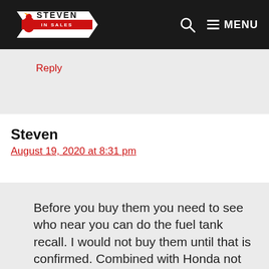Steven In Sales — site navigation header with logo, search icon, and MENU button
Reply
Steven
August 19, 2020 at 8:31 pm
Before you buy them you need to see who near you can do the fuel tank recall. I would not buy them until that is confirmed. Combined with Honda not building any jet skis anymore and very few repair shops willing to work on them to